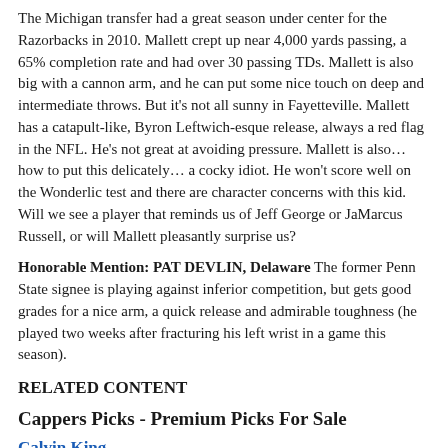The Michigan transfer had a great season under center for the Razorbacks in 2010. Mallett crept up near 4,000 yards passing, a 65% completion rate and had over 30 passing TDs. Mallett is also big with a cannon arm, and he can put some nice touch on deep and intermediate throws. But it's not all sunny in Fayetteville. Mallett has a catapult-like, Byron Leftwich-esque release, always a red flag in the NFL. He's not great at avoiding pressure. Mallett is also… how to put this delicately… a cocky idiot. He won't score well on the Wonderlic test and there are character concerns with this kid. Will we see a player that reminds us of Jeff George or JaMarcus Russell, or will Mallett pleasantly surprise us?
Honorable Mention: PAT DEVLIN, Delaware The former Penn State signee is playing against inferior competition, but gets good grades for a nice arm, a quick release and admirable toughness (he played two weeks after fracturing his left wrist in a game this season).
RELATED CONTENT
Cappers Picks - Premium Picks For Sale
Calvin King